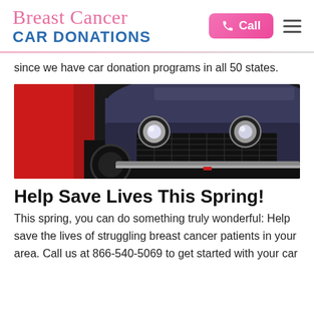Breast Cancer CAR DONATIONS
since we have car donation programs in all 50 states.
[Figure (photo): Close-up photograph of the front end of a classic car, showing headlights and grille, with a red background on the left side.]
Help Save Lives This Spring!
This spring, you can do something truly wonderful: Help save the lives of struggling breast cancer patients in your area. Call us at 866-540-5069 to get started with your car